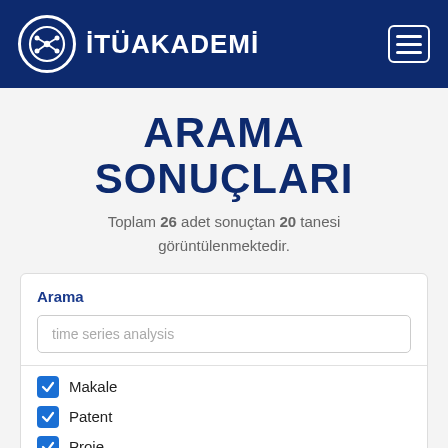İTÜAKADEMİ
ARAMA SONUÇLARI
Toplam 26 adet sonuçtan 20 tanesi görüntülenmektedir.
Arama
time series analysis
Makale
Patent
Proje